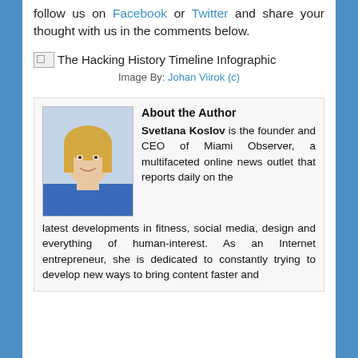follow us on Facebook or Twitter and share your thought with us in the comments below.
[Figure (illustration): Broken image placeholder for 'The Hacking History Timeline Infographic']
Image By: Johan Viirok (c)
About the Author
Svetlana Koslov is the founder and CEO of Miami Observer, a multifaceted online news outlet that reports daily on the latest developments in fitness, social media, design and everything of human-interest. As an Internet entrepreneur, she is dedicated to constantly trying to develop new ways to bring content faster and